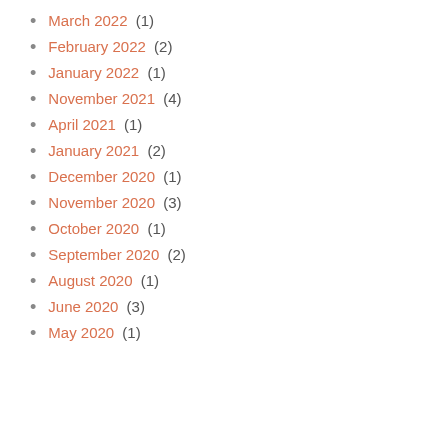March 2022 (1)
February 2022 (2)
January 2022 (1)
November 2021 (4)
April 2021 (1)
January 2021 (2)
December 2020 (1)
November 2020 (3)
October 2020 (1)
September 2020 (2)
August 2020 (1)
June 2020 (3)
May 2020 (1)